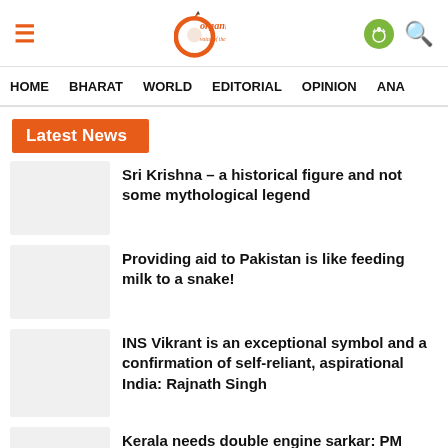Organiser – Voice of the Nation
HOME   BHARAT   WORLD   EDITORIAL   OPINION   ANA
Latest News
Sri Krishna – a historical figure and not some mythological legend
Providing aid to Pakistan is like feeding milk to a snake!
INS Vikrant is an exceptional symbol and a confirmation of self-reliant, aspirational India: Rajnath Singh
Kerala needs double engine sarkar: PM